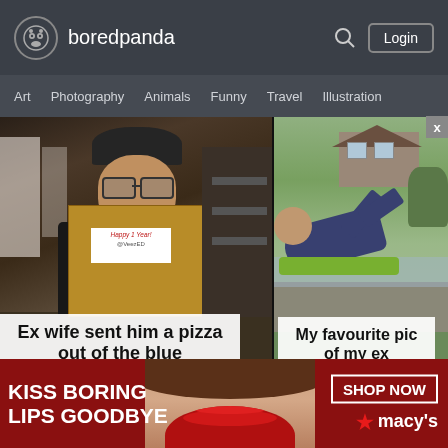boredpanda — Login
Art  Photography  Animals  Funny  Travel  Illustration
[Figure (photo): Man in warehouse holding cardboard box with 'Happy 1 Year! @VeezED' sign, smiling. Caption overlay: 'Ex wife sent him a pizza out of the blue'. Views: 676K Views.]
[Figure (photo): Person sliding on a wet slip and slide in a yard with a house in the background. Caption overlay: 'My favourite pic of my ex'.]
[Figure (photo): Advertisement banner: 'KISS BORING LIPS GOODBYE' with a woman's face showing red lips, and 'SHOP NOW ★ macy's' on the right.]